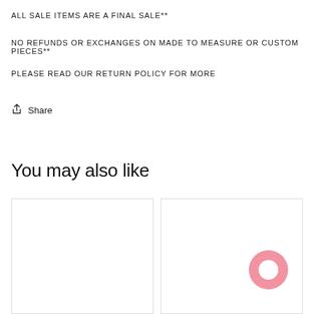ALL SALE ITEMS ARE A FINAL SALE**
NO REFUNDS OR EXCHANGES ON MADE TO MEASURE OR CUSTOM PIECES**
PLEASE READ OUR RETURN POLICY FOR MORE
Share
You may also like
[Figure (other): Two empty product card placeholders side by side, with a pink chat bubble icon in the bottom-right of the second card]